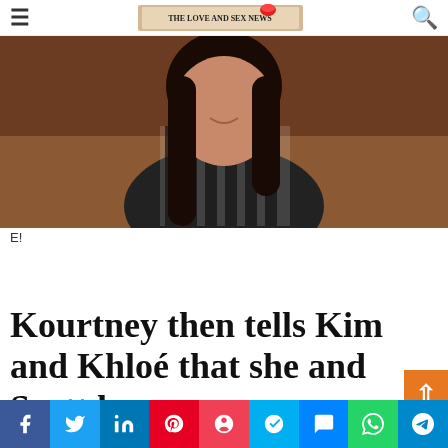THE LOVE AND SEX NEWS
[Figure (photo): Photo of a woman with dark hair wearing a black and white striped outfit, smiling, against a warm brown background]
E!
Kourtney then tells Kim and Khloé that she and Scott have